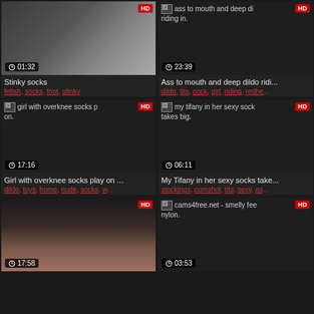[Figure (screenshot): Video thumbnail grid showing 6 video cards in a 2-column layout on dark background]
Stinky socks
fetish, socks, foot, stinky
Ass to mouth and deep dildo ridi...
dildo, tits, cock, girl, riding, redhe...
Girl with overknee socks play on ...
dildo, toys, home, nude, socks, w...
My Tifany in her sexy socks take...
stockings, cumshot, tits, sexy, as...